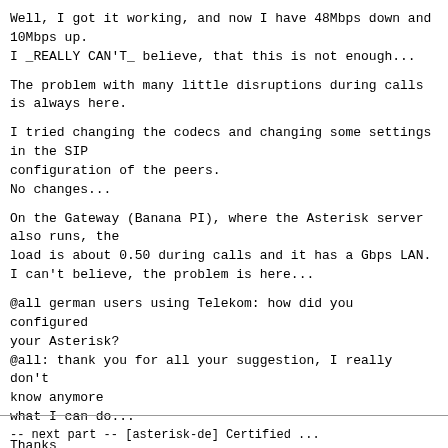Well, I got it working, and now I have 48Mbps down and
10Mbps up.
I _REALLY CAN'T_ believe, that this is not enough...
The problem with many little disruptions during calls
is always here.
I tried changing the codecs and changing some settings
in the SIP
configuration of the peers.
No changes...
On the Gateway (Banana PI), where the Asterisk server
also runs, the
load is about 0.50 during calls and it has a Gbps LAN.
I can't believe, the problem is here...
@all german users using Telekom: how did you configured
your Asterisk?
@all: thank you for all your suggestion, I really don't
know anymore
what I can do...
Thanks
Luca Bertoncello
(lucabert at lucabert.de)
-- next part -- [asterisk-de] Certified ...